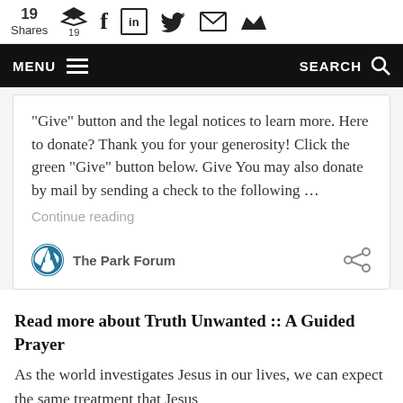19 Shares | 19 | social share icons (Buffer, Facebook, LinkedIn, Twitter, Email, Crown)
MENU | SEARCH
“Give” button and the legal notices to learn more. Here to donate? Thank you for your generosity! Click the green “Give” button below. Give You may also donate by mail by sending a check to the following …
Continue reading
The Park Forum
Read more about Truth Unwanted :: A Guided Prayer
As the world investigates Jesus in our lives, we can expect the same treatment that Jesus